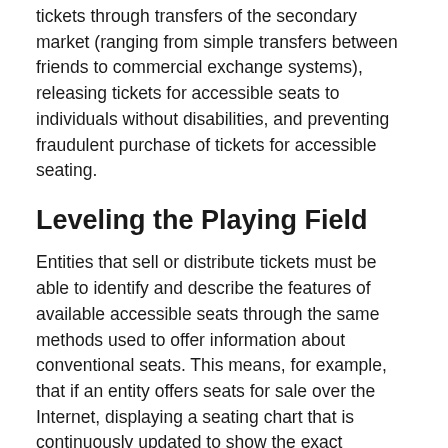tickets through transfers of the secondary market (ranging from simple transfers between friends to commercial exchange systems), releasing tickets for accessible seats to individuals without disabilities, and preventing fraudulent purchase of tickets for accessible seating.
Leveling the Playing Field
Entities that sell or distribute tickets must be able to identify and describe the features of available accessible seats through the same methods used to offer information about conventional seats. This means, for example, that if an entity offers seats for sale over the Internet, displaying a seating chart that is continuously updated to show the exact locations and prices of all available seats, the accessible seats must be identified on the chart.
Accessible seats must be available at every price level